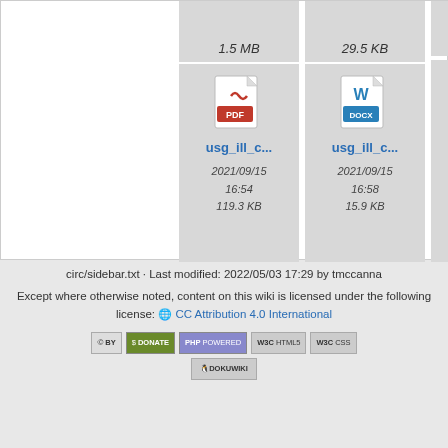[Figure (screenshot): File browser grid showing two file entries. Top row shows partial file cells with sizes 1.5 MB and 29.5 KB. Second row shows PDF file icon labeled usg_ill_c... dated 2021/09/15 16:54, 119.3 KB; and DOCX file icon labeled usg_ill_c... dated 2021/09/15 16:58, 15.9 KB.]
circ/sidebar.txt · Last modified: 2022/05/03 17:29 by tmccanna
Except where otherwise noted, content on this wiki is licensed under the following license: CC Attribution 4.0 International
[Figure (screenshot): Row of badge icons: CC BY, Donate, PHP Powered, WSC HTML5, WSC CSS, DokuWiki]